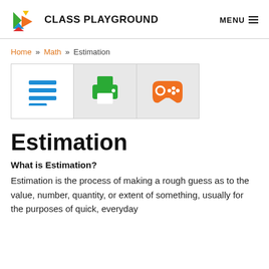CLASS PLAYGROUND  MENU
Home » Math » Estimation
[Figure (illustration): Three tab icons: a blue lined list icon (white background), a green printer icon (gray background), and an orange game controller icon (gray background)]
Estimation
What is Estimation?
Estimation is the process of making a rough guess as to the value, number, quantity, or extent of something, usually for the purposes of quick, everyday